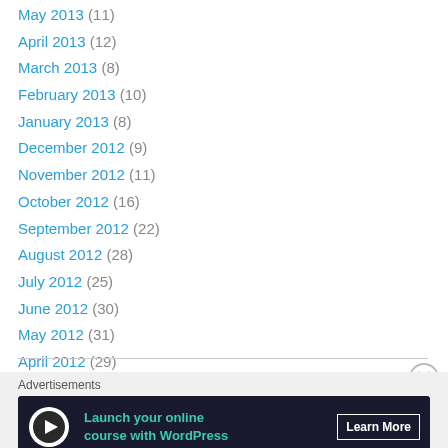May 2013 (11)
April 2013 (12)
March 2013 (8)
February 2013 (10)
January 2013 (8)
December 2012 (9)
November 2012 (11)
October 2012 (16)
September 2012 (22)
August 2012 (28)
July 2012 (25)
June 2012 (30)
May 2012 (31)
April 2012 (29)
March 2012 (27)
[Figure (infographic): Advertisements banner: Launch your online course with WordPress - Learn More button]
AIRBRT-1143 Ad